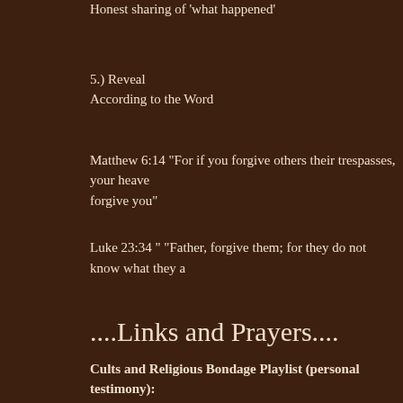Honest sharing of 'what happened'
5.) Reveal
According to the Word
Matthew 6:14 "For if you forgive others their trespasses, your heavenly Father will also forgive you"
Luke 23:34 " "Father, forgive them; for they do not know what they a
....Links and Prayers....
Cults and Religious Bondage Playlist (personal testimony):
http://www.youtube.com/playlist?list=PL5C616545AD9828A6
Prayer for Breaking Soul ties and ties to the 'Institution' (Cult):
Jesus, I confess and repent of my sins resulting from ungodly soul ti_______(reflection of and about who and what. You can even use eve that has established any sort of relationship with you ie. 'institution'). my anger and resentment against You, God, for allowing the resultin life. I give up all my rebellion and sin, and I submit myself to You as m